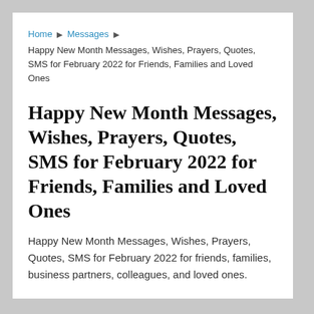Home ▶ Messages ▶ Happy New Month Messages, Wishes, Prayers, Quotes, SMS for February 2022 for Friends, Families and Loved Ones
Happy New Month Messages, Wishes, Prayers, Quotes, SMS for February 2022 for Friends, Families and Loved Ones
Happy New Month Messages, Wishes, Prayers, Quotes, SMS for February 2022 for friends, families, business partners, colleagues, and loved ones.